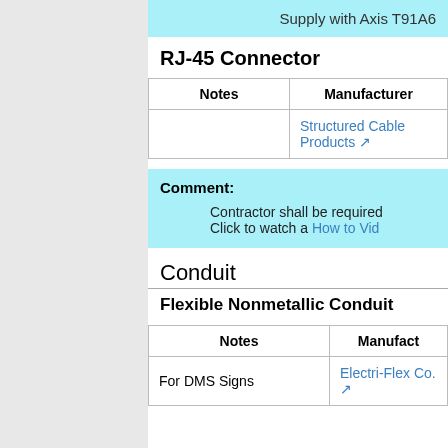Supply with Axis T91A6
RJ-45 Connector
| Notes | Manufacturer |
| --- | --- |
|  | Structured Cable Products ⧉ |
Comment: Contractor shall be required... Click to watch a How to Vid...
Conduit
Flexible Nonmetallic Conduit
| Notes | Manufacturer |
| --- | --- |
| For DMS Signs | Electri-Flex Co. ⧉ |